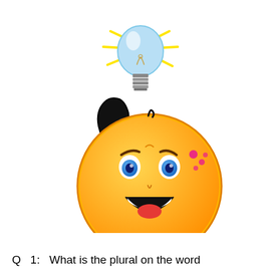[Figure (illustration): A cartoon emoji face (yellow smiley) with blue eyes, raised eyebrows, and a wide open smile showing teeth. The emoji has a black arm raised up with a white gloved hand pointing one finger upward. Above the finger is a glowing light bulb (blue-tinted glass, grey base, with yellow rays radiating outward). Pink sparkle dots appear to the right of the emoji's head.]
Q   1:  What is the plural on the word